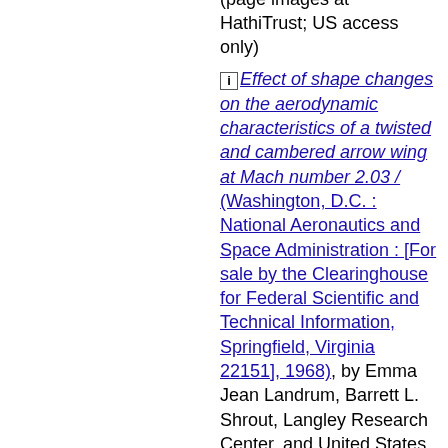and Space Administration, 1968), by Thomas J. Black (page images at HathiTrust; US access only)
[i] Effect of shape changes on the aerodynamic characteristics of a twisted and cambered arrow wing at Mach number 2.03 / (Washington, D.C. : National Aeronautics and Space Administration : [For sale by the Clearinghouse for Federal Scientific and Technical Information, Springfield, Virginia 22151], 1968), by Emma Jean Landrum, Barrett L. Shrout, Langley Research Center, and United States National Aeronautics and Space Administration (page images at HathiTrust; US access only)
[i] Exploratory investigation of flow field resulting from forward-facing nozzles